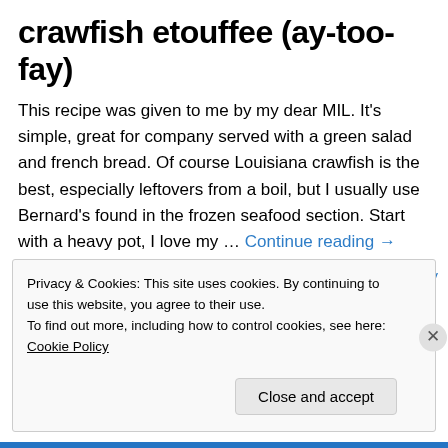crawfish etouffee (ay-too-fay)
This recipe was given to me by my dear MIL. It's simple, great for company served with a green salad and french bread. Of course Louisiana crawfish is the best, especially leftovers from a boil, but I usually use Bernard's found in the frozen seafood section. Start with a heavy pot, I love my … Continue reading →
September 23, 2013
Leave a Reply
Privacy & Cookies: This site uses cookies. By continuing to use this website, you agree to their use.
To find out more, including how to control cookies, see here: Cookie Policy
Close and accept